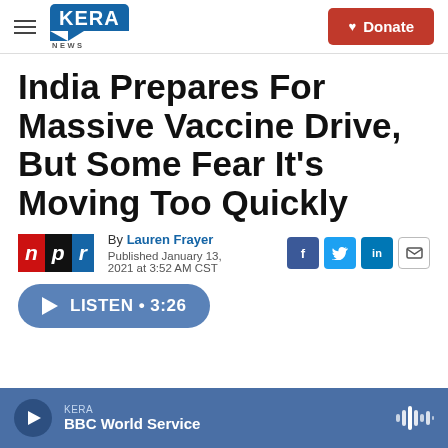KERA NEWS | Donate
India Prepares For Massive Vaccine Drive, But Some Fear It's Moving Too Quickly
By Lauren Frayer
Published January 13, 2021 at 3:52 AM CST
LISTEN • 3:26
KERA — BBC World Service